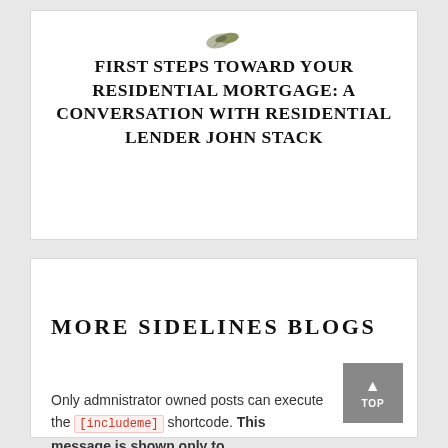[Figure (logo): Small decorative icon/logo — appears to be a shell or leaf graphic]
FIRST STEPS TOWARD YOUR RESIDENTIAL MORTGAGE: A CONVERSATION WITH RESIDENTIAL LENDER JOHN STACK
MORE SIDELINES BLOGS
Only admnistrator owned posts can execute the [includeme] shortcode. This message is shown only to administrators.